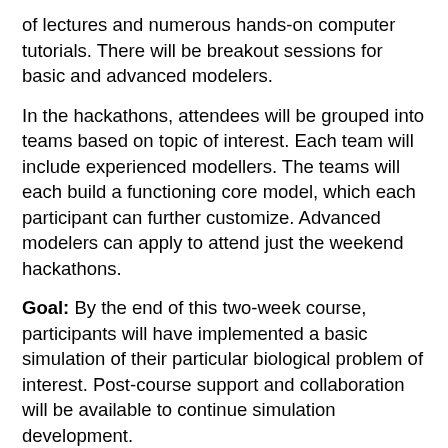of lectures and numerous hands-on computer tutorials. There will be breakout sessions for basic and advanced modelers.
In the hackathons, attendees will be grouped into teams based on topic of interest. Each team will include experienced modellers. The teams will each build a functioning core model, which each participant can further customize. Advanced modelers can apply to attend just the weekend hackathons.
Goal: By the end of this two-week course, participants will have implemented a basic simulation of their particular biological problem of interest. Post-course support and collaboration will be available to continue simulation development.
Topics: Python scripting. Introduction to Reaction-Kinetics (RK) models. Introduction to SBML. Introduction to Virtual-Tissue simulations. Introduction to CompuCell3D. Basics of